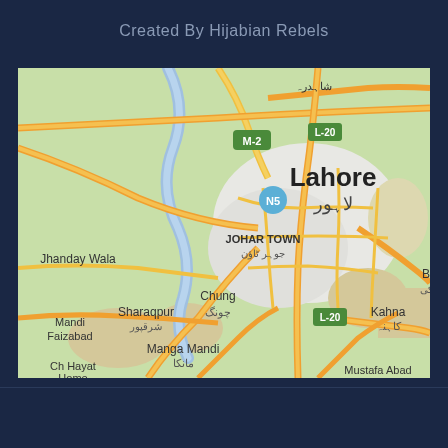Created By Hijabian Rebels
[Figure (map): Google Maps view of Lahore, Pakistan and surrounding areas. Shows Lahore city (لاہور) prominently labeled, with surrounding localities including Jhanday Wala, Sharaqpur (شرقپور), Chung (چونگ), Mandi Faizabad, Ch Hayat Home, Manga Mandi (مانکا), JOHAR TOWN (جوہر ٹاؤن), Kahna (کاہنہ), Bark/Barki (بارکی), Mustafa Abad, Shahdara (شاہدرہ). Road markers include M-2, L-20, N5 highway. The Ravi River is visible as a blue winding line in the western portion of the map.]